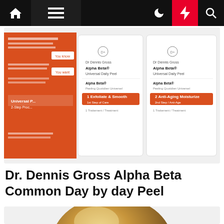Navigation bar with home, menu, moon, bolt, and search icons
[Figure (photo): Dr. Dennis Gross Alpha Beta Universal Daily Peel product packaging - orange box and two white foil packets labeled step 1 Exfoliate & Smooth and step 2 Anti-Aging Moisturize]
Dr. Dennis Gross Alpha Beta Common Day by day Peel
[Figure (photo): Partial view of a round bronze/gold metallic skincare product device]